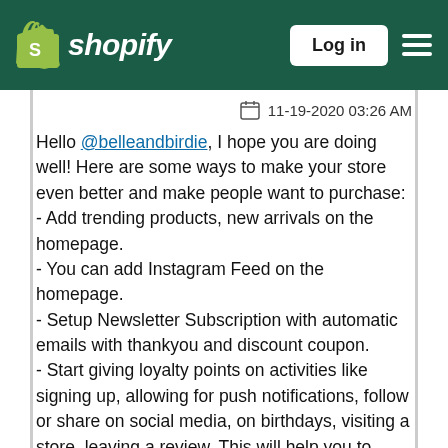[Figure (logo): Shopify logo with green shopping bag icon and italic white text 'shopify' on dark green header bar, with a 'Log in' button and hamburger menu icon]
11-19-2020 03:26 AM
Hello @belleandbirdie, I hope you are doing well! Here are some ways to make your store even better and make people want to purchase:
- Add trending products, new arrivals on the homepage.
- You can add Instagram Feed on the homepage.
- Setup Newsletter Subscription with automatic emails with thankyou and discount coupon.
- Start giving loyalty points on activities like signing up, allowing for push notifications, follow or share on social media, on birthdays, visiting a store, leaving a review. This will help you to entice your visitors and will bring more purchases from them.